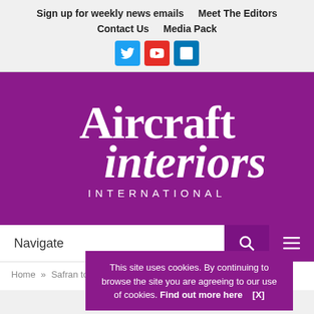Sign up for weekly news emails   Meet The Editors   Contact Us   Media Pack
[Figure (logo): Aircraft Interiors International magazine logo in white text on purple background]
Navigate
Home » Safran to in...
This site uses cookies. By continuing to browse the site you are agreeing to our use of cookies. Find out more here   [X]